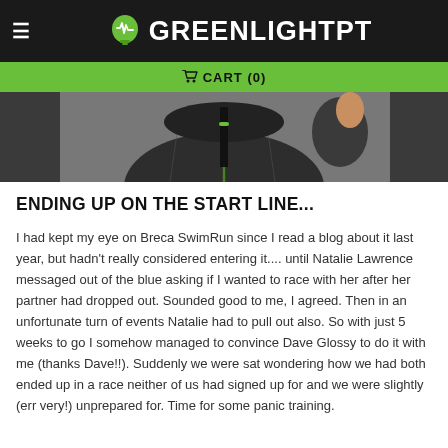GREENLIGHTPT
CART (0)
[Figure (photo): Person wearing a dark puffer jacket with a green zipper, shown from chin to waist, giving a thumbs up gesture.]
ENDING UP ON THE START LINE...
I had kept my eye on Breca SwimRun since I read a blog about it last year, but hadn't really considered entering it.... until Natalie Lawrence messaged out of the blue asking if I wanted to race with her after her partner had dropped out. Sounded good to me, I agreed. Then in an unfortunate turn of events Natalie had to pull out also. So with just 5 weeks to go I somehow managed to convince Dave Glossy to do it with me (thanks Dave!!). Suddenly we were sat wondering how we had both ended up in a race neither of us had signed up for and we were slightly (err very!) unprepared for. Time for some panic training.